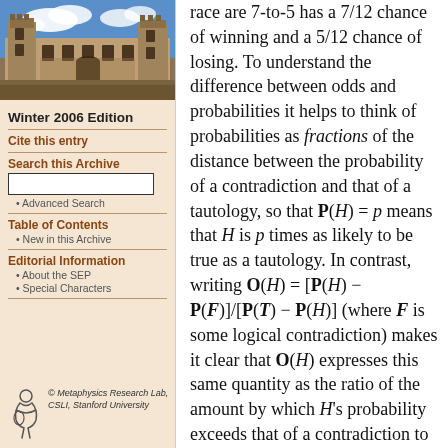[Figure (photo): Aerial/ground-level photo of a stone university building (likely Stanford or Oxford) with towers and courtyards against a blue sky with clouds]
Winter 2006 Edition
Cite this entry
Search this Archive
Advanced Search
Table of Contents
New in this Archive
Editorial Information
About the SEP
Special Characters
[Figure (logo): Metaphysics Research Lab logo - stylized figure/person icon]
© Metaphysics Research Lab, CSLI, Stanford University
race are 7-to-5 has a 7/12 chance of winning and a 5/12 chance of losing. To understand the difference between odds and probabilities it helps to think of probabilities as fractions of the distance between the probability of a contradiction and that of a tautology, so that P(H) = p means that H is p times as likely to be true as a tautology. In contrast, writing O(H) = [P(H) − P(F)]/[P(T) − P(H)] (where F is some logical contradiction) makes it clear that O(H) expresses this same quantity as the ratio of the amount by which H's probability exceeds that of a contradiction to the amount by which it is exceeded